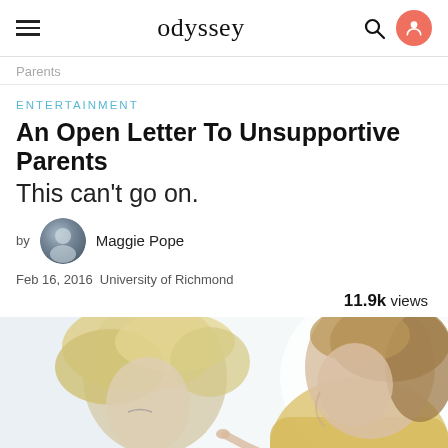odyssey
Parents
ENTERTAINMENT
An Open Letter To Unsupportive Parents
This can't go on.
by Maggie Pope
Feb 16, 2016  University of Richmond
11.9k views
[Figure (photo): Two people facing each other closely, one appearing to be a child with blonde hair looking down, the other an adult, with a finger pointing, soft light background]